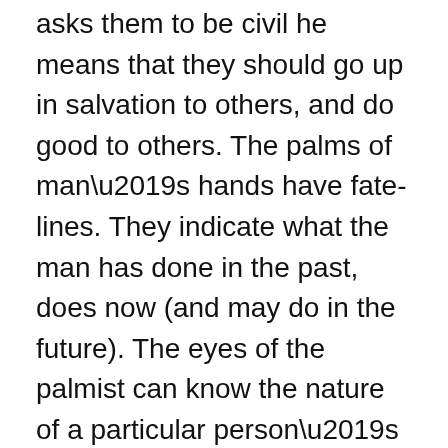asks them to be civil he means that they should go up in salvation to others, and do good to others. The palms of man’s hands have fate-lines. They indicate what the man has done in the past, does now (and may do in the future). The eyes of the palmist can know the nature of a particular person’s life by reading his fate lines. A man should therefore revere the Ten Commandments which Moses inscribed on a slab of stone under God’s inspiration. Moses is great in that he demolished the cult of goblins among the Jews and gave them Ten Mosaic laws of moral behavior.